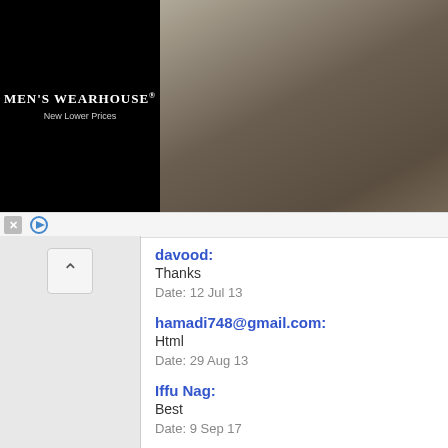[Figure (photo): Men's Wearhouse advertisement banner with a couple in formal wedding attire and a man in a suit, with INFO button]
davood:
Thanks

Date: 12 Jul 13
hamadi748@gmail.com:
Html

Date: 29 Aug 13
Iffu Nag:
Best

Date: 9 Sep 17
javad:
thanks

Date: 8 Mar 18
Hermanto:
Bagus gk gan opera mini sony

Date: 14 Mar 18